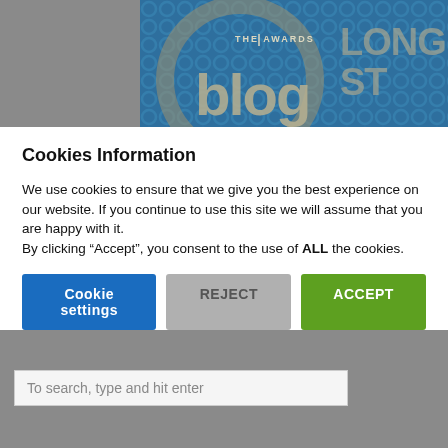[Figure (screenshot): Blog Awards website banner with blue background, circular logo pattern, 'THE AWARDS blog' text and 'LONGLIST' text partially visible]
Cookies Information
We use cookies to ensure that we give you the best experience on our website. If you continue to use this site we will assume that you are happy with it.
By clicking “Accept”, you consent to the use of ALL the cookies.
Cookie settings | REJECT | ACCEPT
To search, type and hit enter